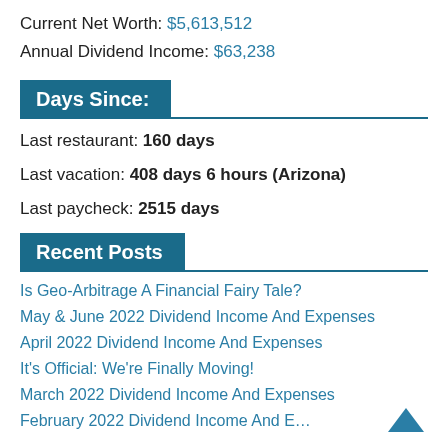Current Net Worth: $5,613,512
Annual Dividend Income: $63,238
Days Since:
Last restaurant: 160 days
Last vacation: 408 days 6 hours (Arizona)
Last paycheck: 2515 days
Recent Posts
Is Geo-Arbitrage A Financial Fairy Tale?
May & June 2022 Dividend Income And Expenses
April 2022 Dividend Income And Expenses
It's Official: We're Finally Moving!
March 2022 Dividend Income And Expenses
February 2022 Dividend Income And Expenses